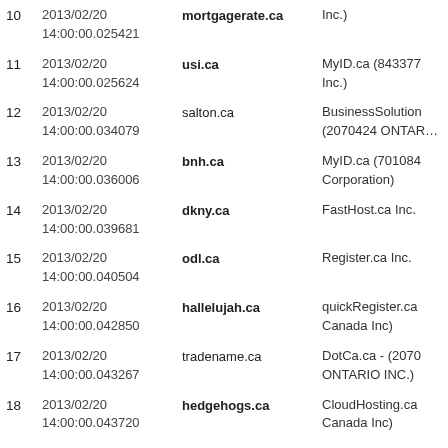10  2013/02/20 14:00:00.025421  mortgagerate.ca  Inc.)
11  2013/02/20 14:00:00.025624  usi.ca  MyID.ca (843377 Inc.)
12  2013/02/20 14:00:00.034079  salton.ca  BusinessSolution (2070424 ONTARIO
13  2013/02/20 14:00:00.036006  bnh.ca  MyID.ca (701084 Corporation)
14  2013/02/20 14:00:00.039681  dkny.ca  FastHost.ca Inc.
15  2013/02/20 14:00:00.040504  odl.ca  Register.ca Inc.
16  2013/02/20 14:00:00.042850  hallelujah.ca  quickRegister.ca Canada Inc)
17  2013/02/20 14:00:00.043267  tradename.ca  DotCa.ca - (2070 ONTARIO INC.)
18  2013/02/20 14:00:00.043720  hedgehogs.ca  CloudHosting.ca Canada Inc)
19  2013/02/20 14:00:00.049195  mou.ca  DOMAINSCAPE
20  2013/02/20 14:00:00.050700  goji.ca  BulkRegister.ca -